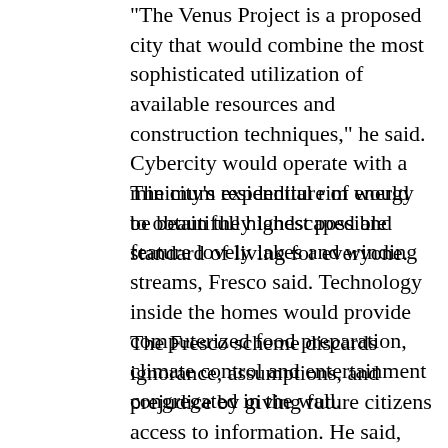"The Venus Project is a proposed city that would combine the most sophisticated utilization of available resources and construction techniques," he said. Cybercity would operate with a minimum expenditure of energy to obtain the highest possible standard of living for everyone.
The city's residential rim would be beautifully landscaped and feature lovely lakes and winding streams, Fresco said. Technology inside the homes would provide computerized food preparation, climate control and entertainment congregated in the wall.
The Fresco scheme discards ignorance, assumptions, and prejudice by giving future citizens access to information. He said, "The greatest limiting factors of our present-day culture can be traced to our archaic language, social customs, and values, which were conceived in earlier times."
The Venus Project is based on Fresco's belief that